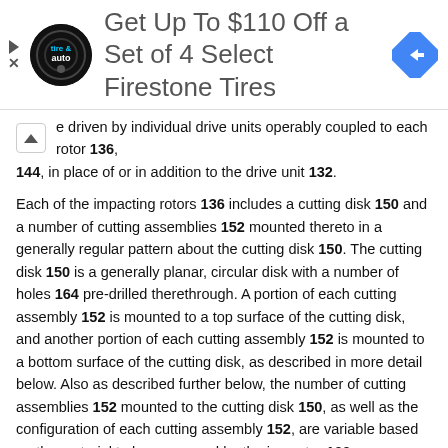[Figure (other): Advertisement banner: 'Get Up To $110 Off a Set of 4 Select Firestone Tires' with Firestone tire & auto logo and navigation icon]
e driven by individual drive units operably coupled to each rotor 136, 144, in place of or in addition to the drive unit 132.
Each of the impacting rotors 136 includes a cutting disk 150 and a number of cutting assemblies 152 mounted thereto in a generally regular pattern about the cutting disk 150. The cutting disk 150 is a generally planar, circular disk with a number of holes 164 pre-drilled therethrough. A portion of each cutting assembly 152 is mounted to a top surface of the cutting disk, and another portion of each cutting assembly 152 is mounted to a bottom surface of the cutting disk, as described in more detail below. Also as described further below, the number of cutting assemblies 152 mounted to the cutting disk 150, as well as the configuration of each cutting assembly 152, are variable based on the material to be processed by the impactor 100.
The impeller rotor 144 includes a fan disk 154 and a number of fan blades 156 mounted to a top surface of the fan disk 154. In the illustrative embodiment, the number of fan blades 156 mounted to the fan disk 154 is predetermined and not variable. In other embodiments, however, different